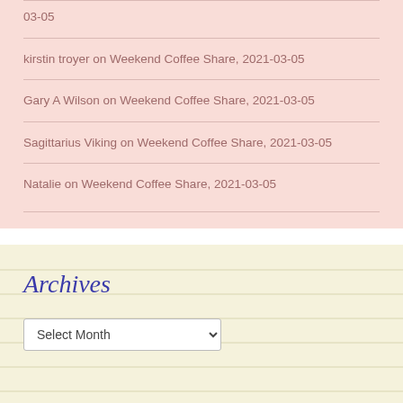03-05
kirstin troyer on Weekend Coffee Share, 2021-03-05
Gary A Wilson on Weekend Coffee Share, 2021-03-05
Sagittarius Viking on Weekend Coffee Share, 2021-03-05
Natalie on Weekend Coffee Share, 2021-03-05
Archives
Select Month